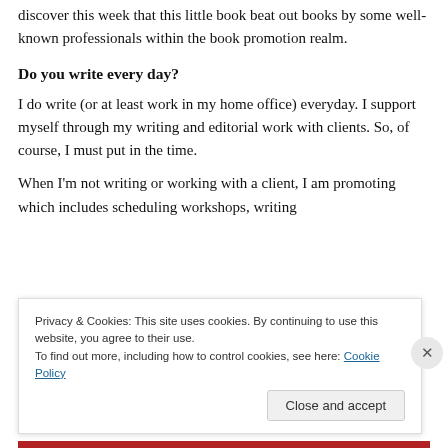discover this week that this little book beat out books by some well-known professionals within the book promotion realm.
Do you write every day?
I do write (or at least work in my home office) everyday. I support myself through my writing and editorial work with clients. So, of course, I must put in the time.
When I'm not writing or working with a client, I am promoting which includes scheduling workshops, writing
Privacy & Cookies: This site uses cookies. By continuing to use this website, you agree to their use.
To find out more, including how to control cookies, see here: Cookie Policy